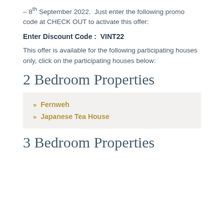– 8th September 2022.  Just enter the following promo code at CHECK OUT to activate this offer:
Enter Discount Code :  VINT22
This offer is available for the following participating houses only, click on the participating houses below:
2 Bedroom Properties
Fernweh
Japanese Tea House
3 Bedroom Properties